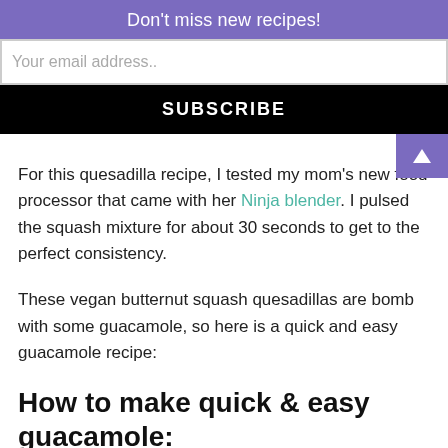Don't miss new recipes!
Your email address..
SUBSCRIBE
For this quesadilla recipe, I tested my mom's new food processor that came with her Ninja blender. I pulsed the squash mixture for about 30 seconds to get to the perfect consistency.
These vegan butternut squash quesadillas are bomb with some guacamole, so here is a quick and easy guacamole recipe:
How to make quick & easy guacamole:
Mash 1 avocado, mix in onion powder, garlic powder,